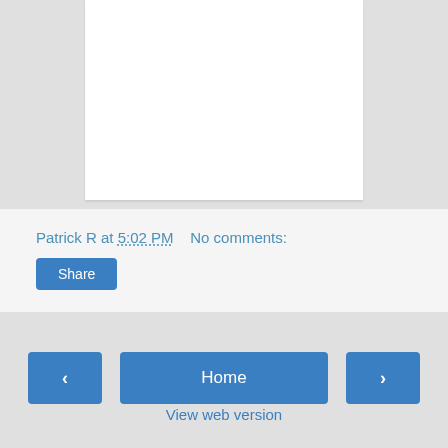[Figure (other): White content card area at top of page on grey background]
Patrick R at 5:02 PM    No comments:
Share
‹
Home
›
View web version
Powered by Blogger.